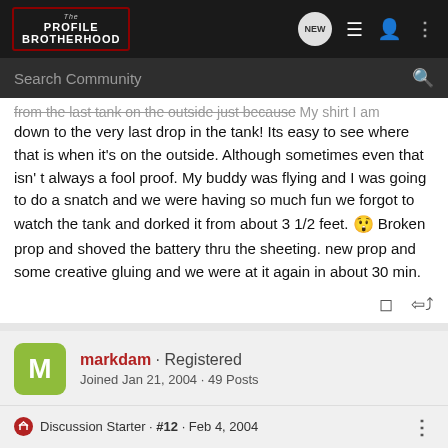The Profile Brotherhood - header navigation
down to the very last drop in the tank! Its easy to see where that is when it's on the outside. Although sometimes even that isn't always a fool proof. My buddy was flying and I was going to do a snatch and we were having so much fun we forgot to watch the tank and dorked it from about 3 1/2 feet. 😮 Broken prop and shoved the battery thru the sheeting. new prop and some creative gluing and we were at it again in about 30 min.
markdam · Registered
Joined Jan 21, 2004 · 49 Posts
Discussion Starter · #12 · Feb 4, 2004